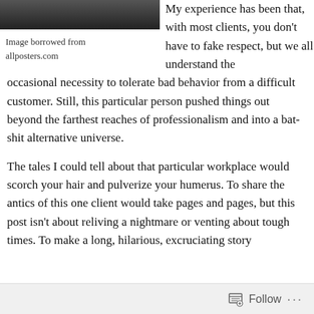[Figure (photo): Dark photo partially visible at top, showing a person or figure with dark tones]
Image borrowed from
allposters.com
My experience has been that, with most clients, you don't have to fake respect, but we all understand the occasional necessity to tolerate bad behavior from a difficult customer. Still, this particular person pushed things out beyond the farthest reaches of professionalism and into a bat-shit alternative universe.
The tales I could tell about that particular workplace would scorch your hair and pulverize your humerus. To share the antics of this one client would take pages and pages, but this post isn't about reliving a nightmare or venting about tough times. To make a long, hilarious, excruciating story
Follow ...